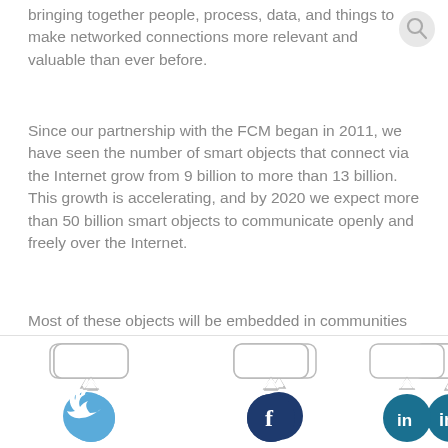bringing together people, process, data, and things to make networked connections more relevant and valuable than ever before.
Since our partnership with the FCM began in 2011, we have seen the number of smart objects that connect via the Internet grow from 9 billion to more than 13 billion. This growth is accelerating, and by 2020 we expect more than 50 billion smart objects to communicate openly and freely over the Internet.
Most of these objects will be embedded in communities that FCM and its members represent:
Cars will communicate amongst each other; to our streetlights, to our
[Figure (infographic): Three social media share buttons at the bottom: Twitter (light blue circle with bird icon), Facebook (dark blue circle with f icon), LinkedIn (teal circle with in icon), each with a speech bubble tooltip box above.]